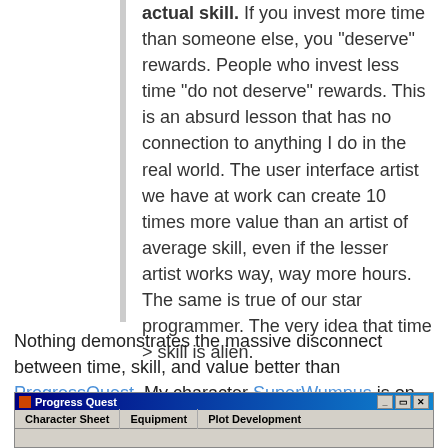actual skill. If you invest more time than someone else, you "deserve" rewards. People who invest less time "do not deserve" rewards. This is an absurd lesson that has no connection to anything I do in the real world. The user interface artist we have at work can create 10 times more value than an artist of average skill, even if the lesser artist works way, way more hours. The same is true of our star programmer. The very idea that time > skill is alien.
Nothing demonstrates the massive disconnect between time, skill, and value better than ProgressQuest. My character SuperWumpus is on the cusp of level 86:
[Figure (screenshot): Progress Quest application window showing title bar and menu bar with tabs: Character Sheet, Equipment, Plot Development]